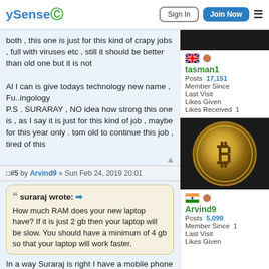ySense — Sign In | Join Now
both , this one is just for this kind of crapy jobs , full with viruses etc , still it should be better than old one but it is not

Al I can is give todays technology new name , Fu..ingology
P.S . SURARAY , NO idea how strong this one is , as I say it is just for this kind of job , maybe for this year only . tom old to continue this job , tired of this
tasman1
Posts 17,151
Member Since
Last Visit
Likes Given
Likes Received 1
#5 by Arvind9 » Sun Feb 24, 2019 20:01
suraraj wrote: How much RAM does your new laptop have? If it is just 2 gb then your laptop will be slow. You should have a minimum of 4 gb so that your laptop will work faster.
Arvind9
Posts 5,099
Member Since 1
Last Visit
Likes Given
In a way Suraraj is right I have a mobile phone with 8Gb of ram,most people still don't understand why